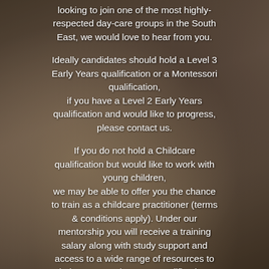[Figure (photo): Background photo of a child's hand being guided while writing/drawing with a pen, warm toned background suggesting a nurturing environment.]
looking to join one of the most highly-respected day-care groups in the South East, we would love to hear from you.
Ideally candidates should hold a Level 3 Early Years qualification or a Montessori qualification, if you have a Level 2 Early Years qualification and would like to progress, please contact us.
If you do not hold a Childcare qualification but would like to work with young children, we may be able to offer you the chance to train as a childcare practitioner (terms & conditions apply). Under our mentorship you will receive a training salary along with study support and access to a wide range of resources to help you complete your qualification.
All of the nurseries are open from 8am to 6pm Monday to Friday. We close for the